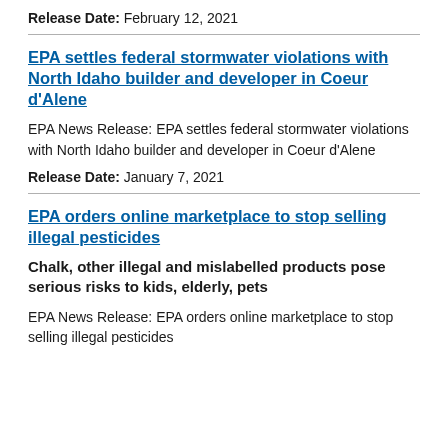Release Date: February 12, 2021
EPA settles federal stormwater violations with North Idaho builder and developer in Coeur d'Alene
EPA News Release: EPA settles federal stormwater violations with North Idaho builder and developer in Coeur d'Alene
Release Date: January 7, 2021
EPA orders online marketplace to stop selling illegal pesticides
Chalk, other illegal and mislabelled products pose serious risks to kids, elderly, pets
EPA News Release: EPA orders online marketplace to stop selling illegal pesticides